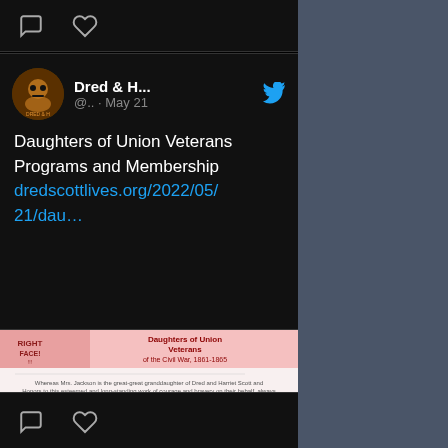[Figure (screenshot): Twitter/social media app screenshot showing a tweet from 'Dred & H...' (@.. · May 21) with Twitter bird icon, about 'Daughters of Union Veterans Programs and Membership' with link dredscottlives.org/2022/05/21/dau... and an image of an Honorary Membership certificate for Mrs. Lynne Jackson from Daughters of Union Veterans of the Civil War 1861-1865, followed by link preview card showing dredscottlives.org and title 'Daughters of Union Veterans Programs and ...']